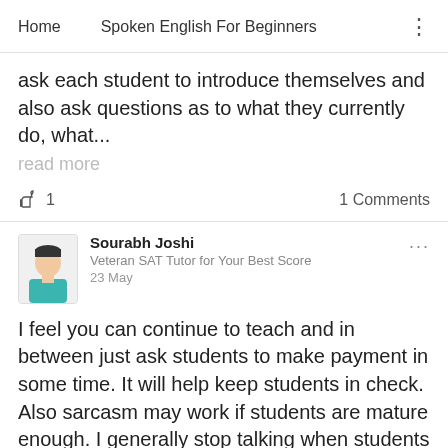Home   Spoken English For Beginners
ask each student to introduce themselves and also ask questions as to what they currently do, what...
read more
1   1 Comments
Sourabh Joshi
Veteran SAT Tutor for Your Best Score
23 May
I feel you can continue to teach and in between just ask students to make payment in some time. It will help keep students in check. Also sarcasm may work if students are mature enough. I generally stop talking when students in my class are noisy till there is complete silence. I just stop mid